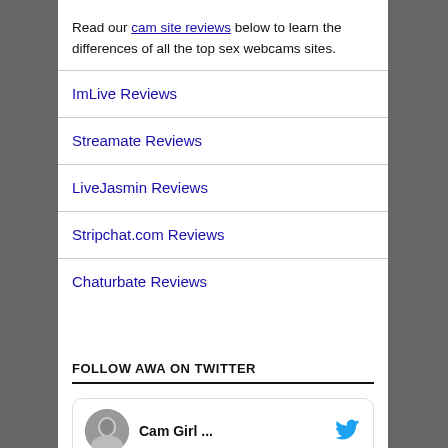Read our cam site reviews below to learn the differences of all the top sex webcams sites.
ImLive Reviews
Streamate Reviews
LiveJasmin Reviews
Stripchat.com Reviews
Chaturbate Reviews
FOLLOW AWA ON TWITTER
[Figure (screenshot): Twitter card showing Cam Girl account with avatar and Twitter bird icon]